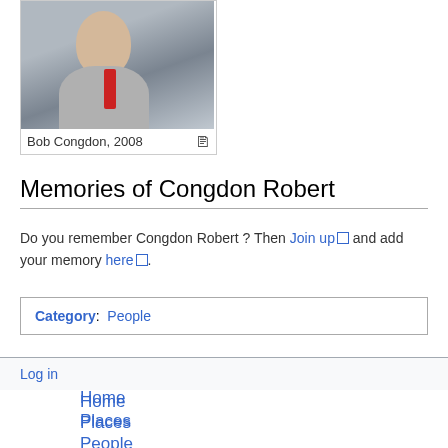[Figure (photo): Photograph of Bob Congdon, 2008, a man in a grey suit with a red striped tie, standing in front of bookshelves]
Bob Congdon, 2008
Memories of Congdon Robert
Do you remember Congdon Robert ? Then Join up and add your memory here.
Category: People
Log in
Home
Places
People
Events